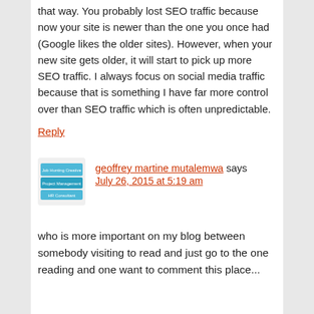that way. You probably lost SEO traffic because now your site is newer than the one you once had (Google likes the older sites). However, when your new site gets older, it will start to pick up more SEO traffic. I always focus on social media traffic because that is something I have far more control over than SEO traffic which is often unpredictable.
Reply
geoffrey martine mutalemwa says
July 26, 2015 at 5:19 am
who is more important on my blog between somebody visiting to read and just go to the one reading and one want to comment this place...